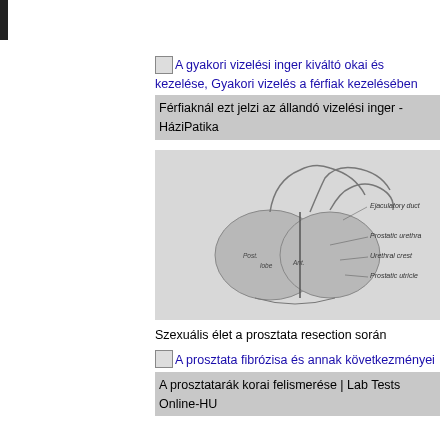A gyakori vizelési inger kiváltó okai és kezelése, Gyakori vizelés a férfiak kezelésében
Férfiaknál ezt jelzi az állandó vizelési inger - HáziPatika
[Figure (illustration): Anatomical cross-section illustration of the prostate gland with labeled parts including Ejaculatory duct, Prostate urethra, Urethral crest, Prostatic utricle]
Szexuális élet a prosztata resection során
A prosztata fibrózisa és annak következményei
A prosztatarák korai felismerése | Lab Tests Online-HU